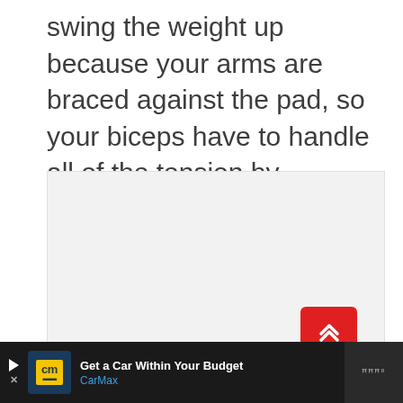swing the weight up because your arms are braced against the pad, so your biceps have to handle all of the tension by themselves.
[Figure (other): Gray placeholder image area with pagination dots and a red scroll-to-top button]
Get a Car Within Your Budget CarMax